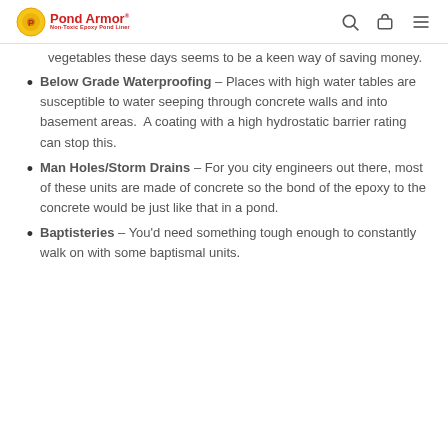Pond Armor
vegetables these days seems to be a keen way of saving money.
Below Grade Waterproofing – Places with high water tables are susceptible to water seeping through concrete walls and into basement areas.  A coating with a high hydrostatic barrier rating can stop this.
Man Holes/Storm Drains – For you city engineers out there, most of these units are made of concrete so the bond of the epoxy to the concrete would be just like that in a pond.
Baptisteries – You'd need something tough enough to constantly walk on with some baptismal units.